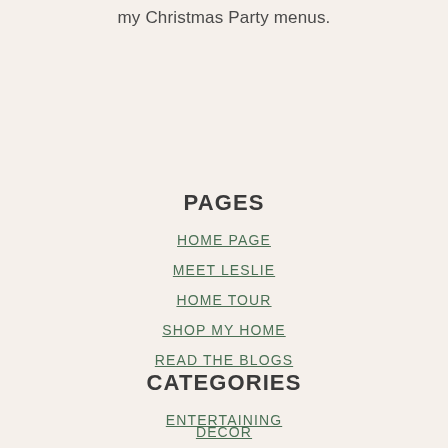my Christmas Party menus.
PAGES
HOME PAGE
MEET LESLIE
HOME TOUR
SHOP MY HOME
READ THE BLOGS
CATEGORIES
ENTERTAINING
DECOR